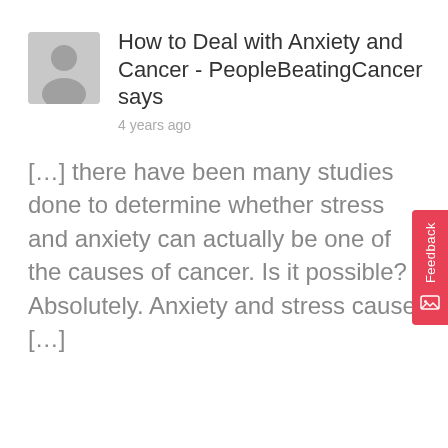[Figure (illustration): Generic user avatar placeholder icon — grey square with silhouette of a person]
How to Deal with Anxiety and Cancer - PeopleBeatingCancer says
4 years ago
[…] there have been many studies done to determine whether stress and anxiety can actually be one of the causes of cancer. Is it possible? Absolutely. Anxiety and stress cause […]